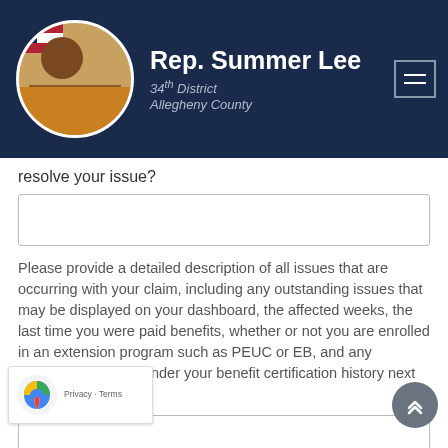Rep. Summer Lee
34th District
Allegheny County
resolve your issue?
Please provide a detailed description of all issues that are occurring with your claim, including any outstanding issues that may be displayed on your dashboard, the affected weeks, the last time you were paid benefits, whether or not you are enrolled in an extension program such as PEUC or EB, and any messages you see under your benefit certification history next to claimed weeks.
Please take screenshots of your weekly benefit payment history for the weeks you are claiming, along to your claim